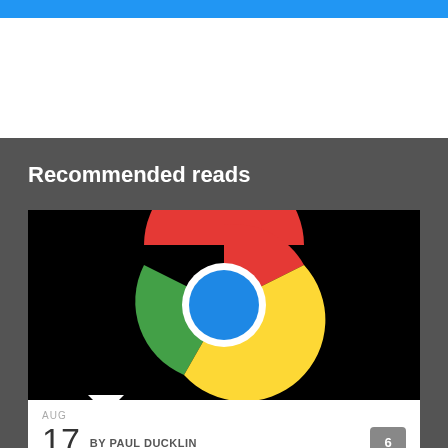Recommended reads
[Figure (screenshot): Google Chrome browser logo on black background]
AUG
17 BY PAUL DUCKLIN
6
Chrome browser gets 11 security fixes with 1